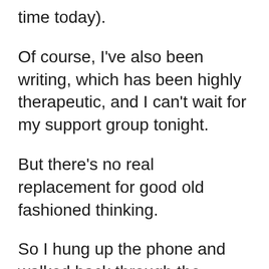time today).
Of course, I've also been writing, which has been highly therapeutic, and I can't wait for my support group tonight.
But there's no real replacement for good old fashioned thinking.
So I hung up the phone and walked back through the cemetery to my home by myself.
I thought about a lot of things, but one of the things I thought about was thinking about thinking. How scary it is that